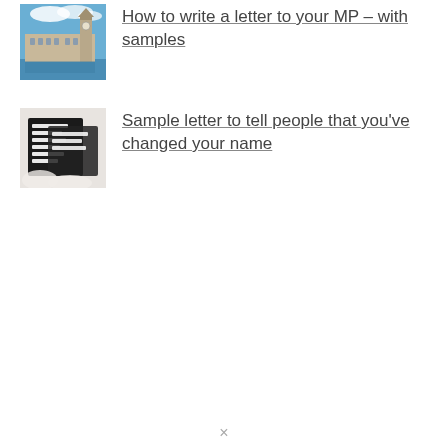[Figure (photo): Thumbnail photo of the Houses of Parliament / Big Ben in London with blue sky and river Thames]
How to write a letter to your MP – with samples
[Figure (photo): Thumbnail photo of name cards/labels, close-up showing handwritten names including Andrew, Claudia, etc.]
Sample letter to tell people that you've changed your name